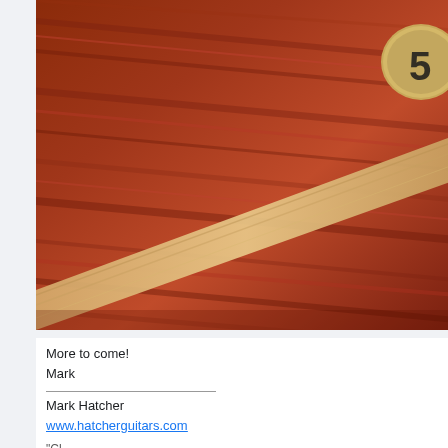[Figure (photo): Close-up photograph of a reddish-brown wood guitar body with a lighter maple stripe inlay running diagonally, and a circular wooden pickup knob/button with a stylized symbol in the upper right corner.]
More to come!
Mark
Mark Hatcher
www.hatcherguitars.com
"Cl...